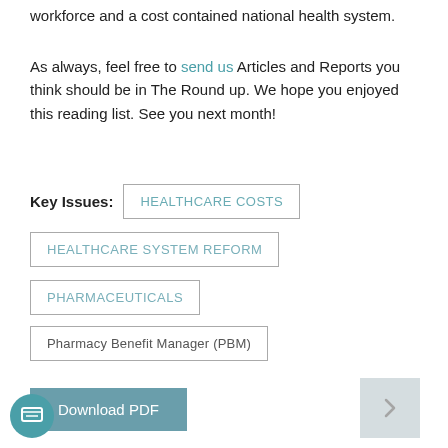workforce and a cost contained national health system.
As always, feel free to send us Articles and Reports you think should be in The Round up. We hope you enjoyed this reading list. See you next month!
Key Issues:  HEALTHCARE COSTS
HEALTHCARE SYSTEM REFORM
PHARMACEUTICALS
Pharmacy Benefit Manager (PBM)
Download PDF